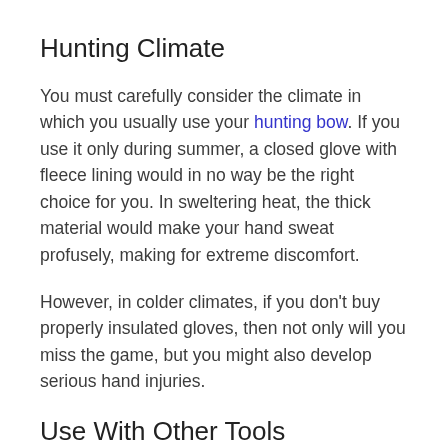Hunting Climate
You must carefully consider the climate in which you usually use your hunting bow. If you use it only during summer, a closed glove with fleece lining would in no way be the right choice for you. In sweltering heat, the thick material would make your hand sweat profusely, making for extreme discomfort.
However, in colder climates, if you don’t buy properly insulated gloves, then not only will you miss the game, but you might also develop serious hand injuries.
Use With Other Tools